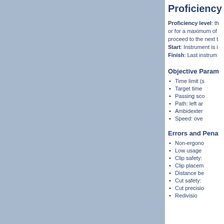Proficiency
Proficiency level: th or for a maximum of proceed to the next t
Start: Instrument is i
Finish: Last instrum
Objective Param
Time limit (s
Target time
Passing sco
Path: left ar
Ambidexter
Speed: ove
Errors and Pena
Non-ergon
Low usage
Clip safety:
Clip placem
Distance be
Cut safety:
Cut precisio
Redivisio